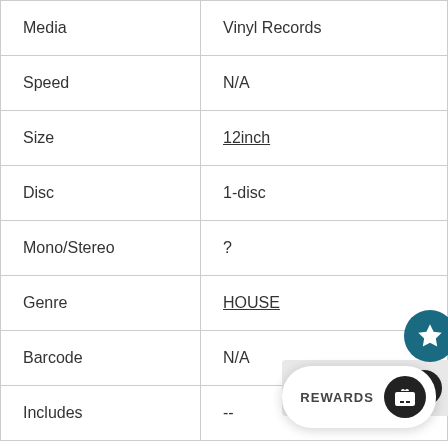| Property | Value |
| --- | --- |
| Media | Vinyl Records |
| Speed | N/A |
| Size | 12inch |
| Disc | 1-disc |
| Mono/Stereo | ? |
| Genre | HOUSE |
| Barcode | N/A |
| Includes | -- |